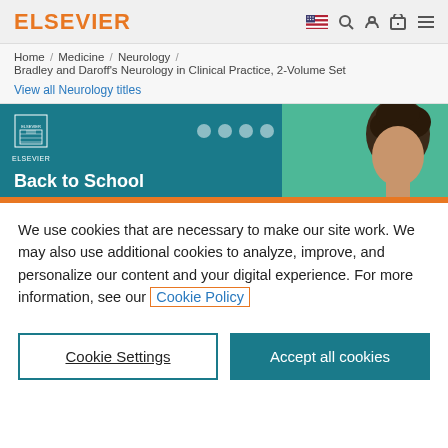ELSEVIER
Home / Medicine / Neurology / Bradley and Daroff's Neurology in Clinical Practice, 2-Volume Set
View all Neurology titles
[Figure (screenshot): Elsevier Back to School promotional banner with teal and green background, Elsevier logo, decorative dots, and partial face of a person]
We use cookies that are necessary to make our site work. We may also use additional cookies to analyze, improve, and personalize our content and your digital experience. For more information, see our Cookie Policy
Cookie Settings
Accept all cookies